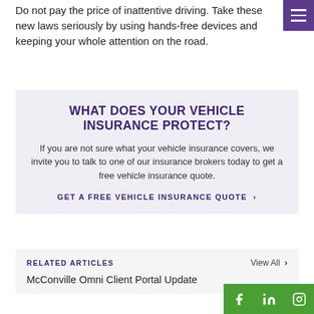Do not pay the price of inattentive driving. Take these new laws seriously by using hands-free devices and keeping your whole attention on the road.
WHAT DOES YOUR VEHICLE INSURANCE PROTECT?
If you are not sure what your vehicle insurance covers, we invite you to talk to one of our insurance brokers today to get a free vehicle insurance quote.
GET A FREE VEHICLE INSURANCE QUOTE >
RELATED ARTICLES
View All >
McConville Omni Client Portal Update